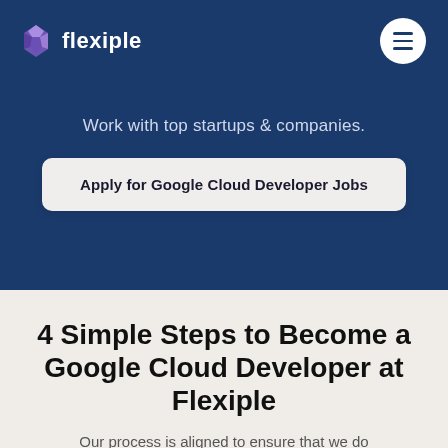flexiple
Work with top startups & companies.
Apply for Google Cloud Developer Jobs
4 Simple Steps to Become a Google Cloud Developer at Flexiple
Our process is aligned to ensure that we do most of the heavy lifting while you quickly...